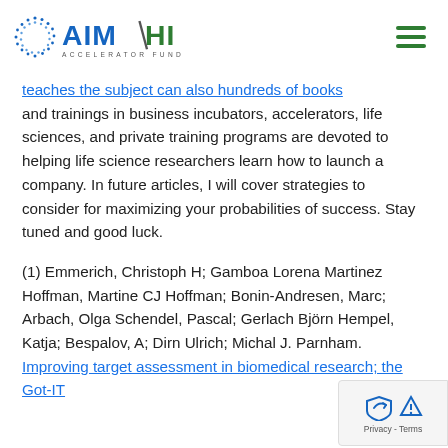AIM-HI Accelerator Fund
teaches the subject can also hundreds of books and trainings in business incubators, accelerators, life sciences, and private training programs are devoted to helping life science researchers learn how to launch a company. In future articles, I will cover strategies to consider for maximizing your probabilities of success. Stay tuned and good luck.
(1) Emmerich, Christoph H; Gamboa Lorena Martinez Hoffman, Martine CJ Hoffman; Bonin-Andresen, Marc; Arbach, Olga Schendel, Pascal; Gerlach Björn Hempel, Katja; Bespalov, A; Dirn Ulrich; Michal J. Parnham. Improving target assessment in biomedical research; the Got-IT